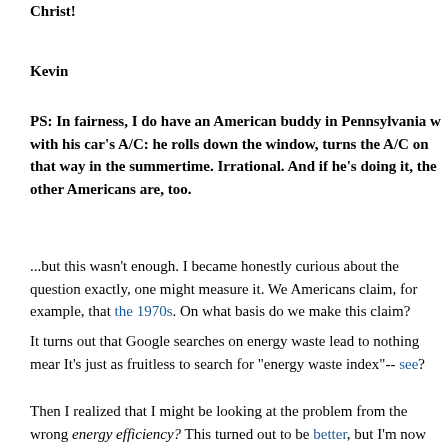Christ!
Kevin
PS: In fairness, I do have an American buddy in Pennsylvania w with his car's A/C: he rolls down the window, turns the A/C on that way in the summertime. Irrational. And if he's doing it, th other Americans are, too.
...but this wasn't enough. I became honestly curious about the question exactly, one might measure it. We Americans claim, for example, that the 1970s. On what basis do we make this claim?
It turns out that Google searches on energy waste lead to nothing mea It's just as fruitless to search for "energy waste index"-- see?
Then I realized that I might be looking at the problem from the wrong energy efficiency? This turned out to be better, but I'm now clued in to